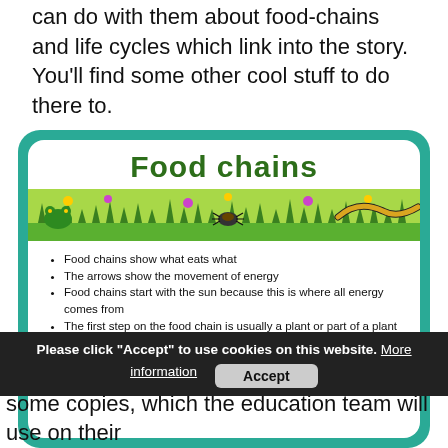can do with them about food-chains and life cycles which link into the story. You'll find some other cool stuff to do there to.
[Figure (illustration): A food chains educational card with a teal rounded border background, white inner card. Title 'Food chains' in bold dark green. A decorative banner with jungle/nature animals (frog, snake, beetles, plants). Bullet points listing food chain facts. A food chain example: Sun → Pollen → Beetle → Frog.]
Food chains show what eats what
The arrows show the movement of energy
Food chains start with the sun because this is where all energy comes from
The first step on the food chain is usually a plant or part of a plant because plants can use energy from the sun
Here is an example food chain:
Sun → Pollen → Beetle → Frog
Please click "Accept" to use cookies on this website. More information  Accept
We have been able to fund the printing of some copies, which the education team will use on their